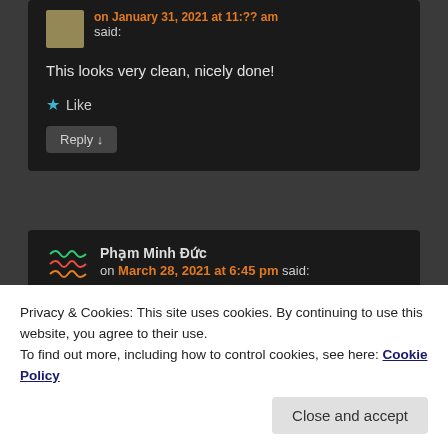on January 31, 2021 at 11:?? am said:
This looks very clean, nicely done!
★ Like
Reply ↓
Phạm Minh Đức
on March 28, 2021 at 6:45 pm said:
it is so amazing, 😀
Privacy & Cookies: This site uses cookies. By continuing to use this website, you agree to their use.
To find out more, including how to control cookies, see here: Cookie Policy
Close and accept